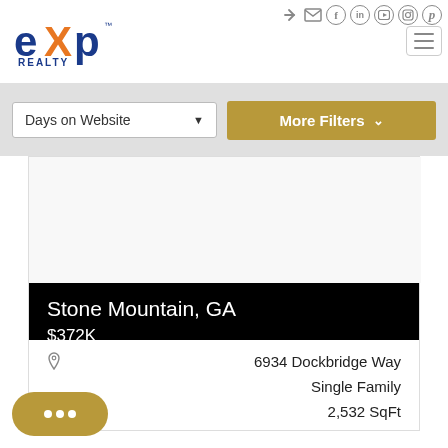eXp Realty
Days on Website
More Filters
[Figure (screenshot): Property listing card with white image placeholder area]
Stone Mountain, GA
$372K
6934 Dockbridge Way
Single Family
2,532 SqFt